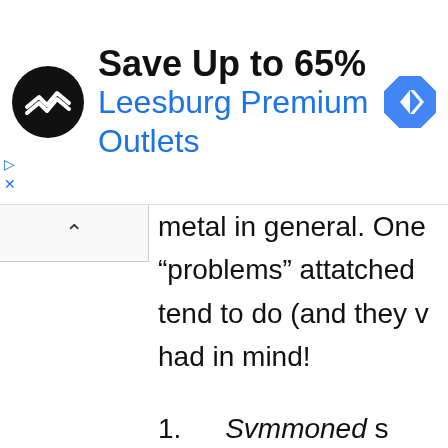[Figure (infographic): Advertisement banner: Save Up to 65% at Leesburg Premium Outlets with logo and navigation icon]
metal in general. One “problems” attatched tend to do (and they had in mind!
1. Svmmoned s… November 10… Ultimately it f… have enough… confidence a…